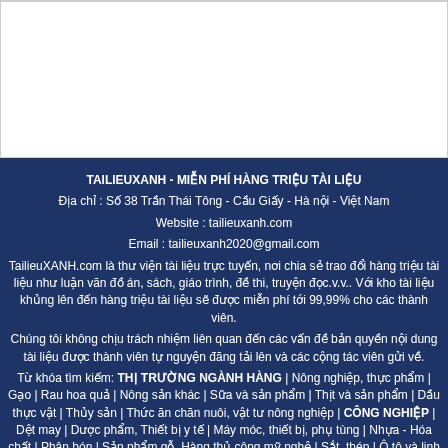TAILIEUXANH - MIỄN PHÍ HÀNG TRIỆU TÀI LIỆU
Địa chỉ : Số 38 Trần Thái Tông - Cầu Giấy - Hà nội - Việt Nam
Website : tailieuxanh.com
Email : tailieuxanh2020@gmail.com
TailieuXANH.com là thư viện tài liệu trực tuyến, nơi chia sẻ trao đổi hàng triệu tài liệu như luận văn đồ án, sách, giáo trình, đề thi, truyện đọc.v.v.. Với kho tài liệu khủng lên đến hàng triệu tài liệu sẽ được miễn phí tới 99,99% cho các thành viên.
Chúng tôi không chịu trách nhiệm liên quan đến các vấn đề bản quyền nội dung tài liệu được thành viên tự nguyện đăng tải lên và các cộng tác viên gửi về.
Từ khóa tìm kiếm: THỊ TRƯỜNG NGÀNH HÀNG | Nông nghiệp, thực phẩm | Gạo | Rau hoa quả | Nông sản khác | Sữa và sản phẩm | Thịt và sản phẩm | Dầu thực vật | Thủy sản | Thức ăn chăn nuôi, vật tư nông nghiệp | CÔNG NGHIỆP | Dệt may | Dược phẩm, Thiết bị y tế | Máy móc, thiết bị, phụ tùng | Nhựa - Hóa chất | Phân bón | Sản phẩm gỗ, Hàng thủ công mỹ nghệ | Sắt, thép | Ô tô và linh kiện | Xăng dầu